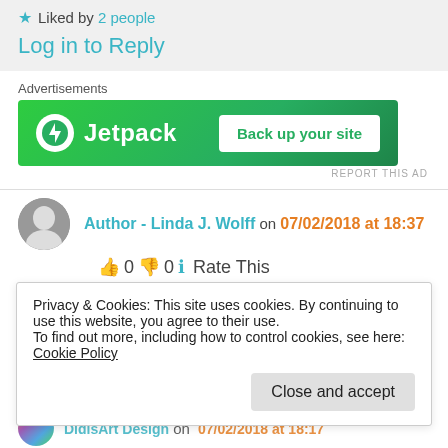★ Liked by 2 people
Log in to Reply
Advertisements
[Figure (screenshot): Jetpack advertisement banner with green background, Jetpack logo on left and 'Back up your site' button on right]
REPORT THIS AD
Author - Linda J. Wolff on 07/02/2018 at 18:37
👍 0 👎 0 ℹ Rate This
Hi, Didi! How are you and your lovely wife!
Privacy & Cookies: This site uses cookies. By continuing to use this website, you agree to their use.
To find out more, including how to control cookies, see here: Cookie Policy
Close and accept
DidisArt Design on 07/02/2018 at 18:17